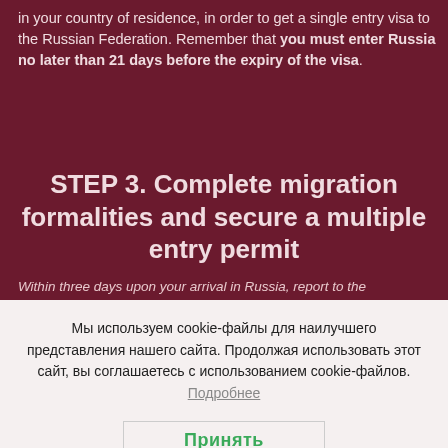in your country of residence, in order to get a single entry visa to the Russian Federation. Remember that you must enter Russia no later than 21 days before the expiry of the visa.
STEP 3. Complete migration formalities and secure a multiple entry permit
Within three days upon your arrival in Russia, report to the
Мы используем cookie-файлы для наилучшего представления нашего сайта. Продолжая использовать этот сайт, вы соглашаетесь с использованием cookie-файлов. Подробнее
Принять